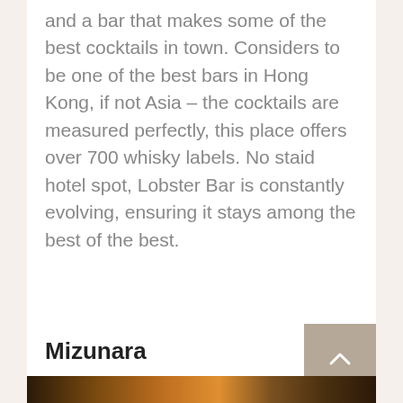and a bar that makes some of the best cocktails in town. Considers to be one of the best bars in Hong Kong, if not Asia – the cocktails are measured perfectly, this place offers over 700 whisky labels. No staid hotel spot, Lobster Bar is constantly evolving, ensuring it stays among the best of the best.
Mizunara
[Figure (photo): Interior photo of a bar showing bottles on shelves with warm amber lighting]